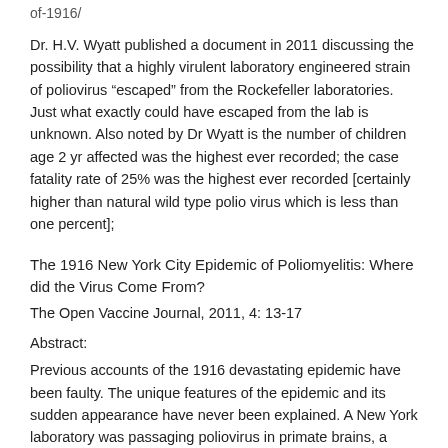of-1916/
Dr. H.V. Wyatt published a document in 2011 discussing the possibility that a highly virulent laboratory engineered strain of poliovirus “escaped” from the Rockefeller laboratories. Just what exactly could have escaped from the lab is unknown. Also noted by Dr Wyatt is the number of children age 2 yr affected was the highest ever recorded; the case fatality rate of 25% was the highest ever recorded [certainly higher than natural wild type polio virus which is less than one percent];
The 1916 New York City Epidemic of Poliomyelitis: Where did the Virus Come From?
The Open Vaccine Journal, 2011, 4: 13-17
Abstract:
Previous accounts of the 1916 devastating epidemic have been faulty. The unique features of the epidemic and its sudden appearance have never been explained. A New York laboratory was passaging poliovirus in primate brains, a